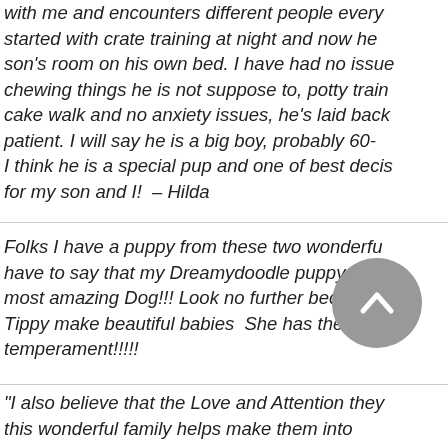with me and encounters different people every... started with crate training at night and now he... son's room on his own bed. I have had no issue... chewing things he is not suppose to, potty train... cake walk and no anxiety issues, he's laid back... patient. I will say he is a big boy, probably 60-... I think he is a special pup and one of best decis... for my son and I!  – Hilda
Folks I have a puppy from these two wonderfu... have to say that my Dreamydoodle puppy is a... most amazing Dog!!! Look no further because K... Tippy make beautiful babies  She has the best... temperament!!!!!
"I also believe that the Love and Attention they... this wonderful family helps make them into...